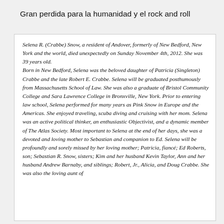Gran perdida para la humanidad y el rock and roll
Selena R. (Crabbe) Snow, a resident of Andover, formerly of New Bedford, New York and the world, died unexpectedly on Sunday November 4th, 2012. She was 39 years old. Born in New Bedford, Selena was the beloved daughter of Patricia (Singleton) Crabbe and the late Robert E. Crabbe. Selena will be graduated posthumously from Massachusetts School of Law. She was also a graduate of Bristol Community College and Sara Lawrence College in Bronxville, New York. Prior to entering law school, Selena performed for many years as Pink Snow in Europe and the Americas. She enjoyed traveling, scuba diving and cruising with her mom. Selena was an active political thinker, an enthusiastic Objectivist, and a dynamic member of The Atlas Society. Most important to Selena at the end of her days, she was a devoted and loving mother to Sebastian and companion to Ed. Selena will be profoundly and sorely missed by her loving mother; Patricia, fiancé; Ed Roberts, son; Sebastian R. Snow, sisters; Kim and her husband Kevin Taylor, Ann and her husband Andrew Barnaby, and siblings; Robert, Jr., Alicia, and Doug Crabbe. She was also the loving aunt of